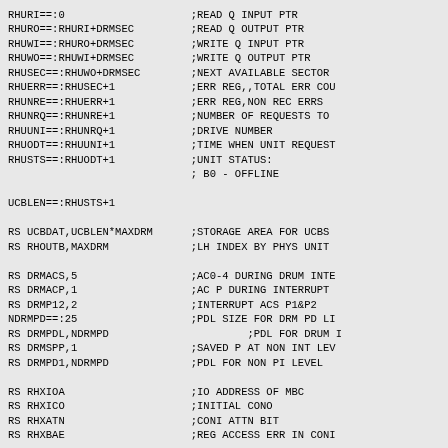RHURI==:0                    ;READ Q INPUT PTR
RHURO==:RHURI+DRMSEC         ;READ Q OUTPUT PTR
RHUWI==:RHURO+DRMSEC         ;WRITE Q INPUT PTR
RHUWO==:RHUWI+DRMSEC         ;WRITE Q OUTPUT PTR
RHUSEC==:RHUWO+DRMSEC        ;NEXT AVAILABLE SECTOR
RHUERR==:RHUSEC+1            ;ERR REG,,TOTAL ERR COU
RHUNRE==:RHUERR+1            ;ERR REG,NON REC ERRS
RHUNRQ==:RHUNRE+1            ;NUMBER OF REQUESTS TO
RHUUNI==:RHUNRQ+1            ;DRIVE NUMBER
RHUODT==:RHUUNI+1            ;TIME WHEN UNIT REQUEST
RHUSTS==:RHUODT+1            ;UNIT STATUS:
                             ; B0 - OFFLINE

UCBLEN==:RHUSTS+1

RS UCBDAT,UCBLEN*MAXDRM      ;STORAGE AREA FOR UCBS
RS RHOUTB,MAXDRM             ;LH INDEX BY PHYS UNIT

RS DRMACS,5                  ;AC0-4 DURING DRUM INTE
RS DRMACP,1                  ;AC P DURING INTERRUPT
RS DRMP12,2                  ;INTERRUPT ACS P1&P2
NDRMPD==:25                  ;PDL SIZE FOR DRM PD LI
RS DRMPDL,NDRMPD                      ;PDL FOR DRUM I
RS DRMSPP,1                  ;SAVED P AT NON INT LEV
RS DRMPD1,NDRMPD             ;PDL FOR NON PI LEVEL

RS RHXIOA                    ;IO ADDRESS OF MBC
RS RHXICO                    ;INITIAL CONO
RS RHXATN                    ;CONI ATTN BIT
RS RHXBAE                    ;REG ACCESS ERR IN CONI